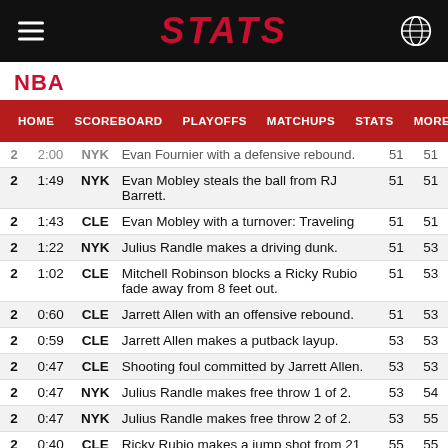STATS
NBA
Navigation bar: HOME | SCOREBOARD | PLAYOFFS | MATCHUPS | STATS | MORE...
| Q | Time | Team | Play | CLE | NYK |
| --- | --- | --- | --- | --- | --- |
| 2 | 2:00 | NYK | Evan Fournier with a defensive rebound. | 51 | 51 |
| 2 | 1:49 | NYK | Evan Mobley steals the ball from RJ Barrett. | 51 | 51 |
| 2 | 1:43 | CLE | Evan Mobley with a turnover: Traveling | 51 | 51 |
| 2 | 1:22 | NYK | Julius Randle makes a driving dunk. | 51 | 53 |
| 2 | 1:02 | CLE | Mitchell Robinson blocks a Ricky Rubio fade away from 8 feet out. | 51 | 53 |
| 2 | 0:60 | CLE | Jarrett Allen with an offensive rebound. | 51 | 53 |
| 2 | 0:59 | CLE | Jarrett Allen makes a putback layup. | 53 | 53 |
| 2 | 0:47 | CLE | Shooting foul committed by Jarrett Allen. | 53 | 53 |
| 2 | 0:47 | NYK | Julius Randle makes free throw 1 of 2. | 53 | 54 |
| 2 | 0:47 | NYK | Julius Randle makes free throw 2 of 2. | 53 | 55 |
| 2 | 0:40 | CLE | Ricky Rubio makes a jump shot from 21 feet out. Darius Garland with the assist. | 55 | 55 |